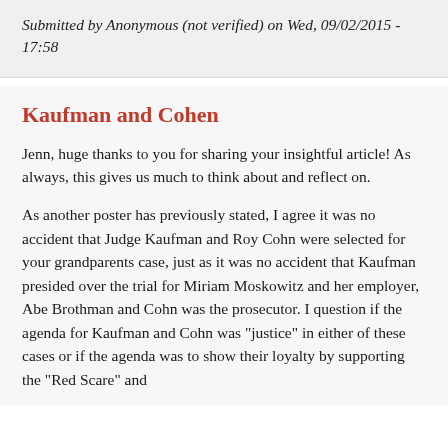Submitted by Anonymous (not verified) on Wed, 09/02/2015 - 17:58
Kaufman and Cohen
Jenn, huge thanks to you for sharing your insightful article! As always, this gives us much to think about and reflect on.
As another poster has previously stated, I agree it was no accident that Judge Kaufman and Roy Cohn were selected for your grandparents case, just as it was no accident that Kaufman presided over the trial for Miriam Moskowitz and her employer, Abe Brothman and Cohn was the prosecutor. I question if the agenda for Kaufman and Cohn was "justice" in either of these cases or if the agenda was to show their loyalty by supporting the "Red Scare" and